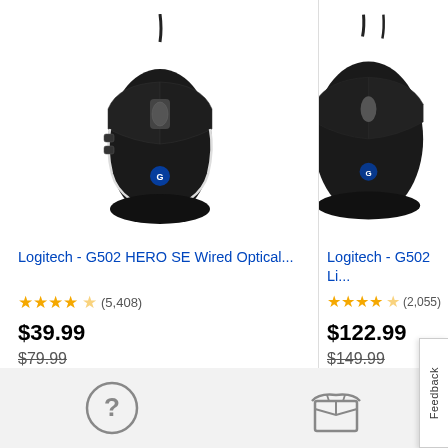[Figure (photo): Logitech G502 HERO SE Wired Optical gaming mouse, black with white accents and blue Logitech logo, with cable]
Logitech - G502 HERO SE Wired Optical...
★★★★★ (5,408)
$39.99
$79.99
Add to Cart
[Figure (photo): Logitech G502 LightSpeed wireless gaming mouse, black, partially cropped on right side]
Logitech - G502 Li...
★★★★★ (2,055)
$122.99
$149.99
[Figure (other): Question mark circle icon]
[Figure (other): Box/shipping icon]
Feedback